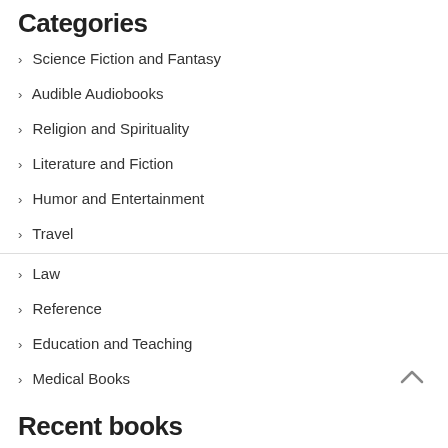Categories
Science Fiction and Fantasy
Audible Audiobooks
Religion and Spirituality
Literature and Fiction
Humor and Entertainment
Travel
Law
Reference
Education and Teaching
Medical Books
Recent books